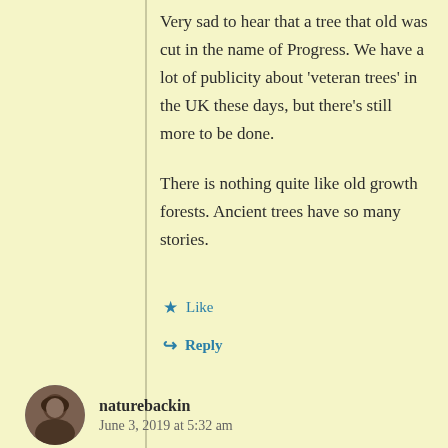Very sad to hear that a tree that old was cut in the name of Progress. We have a lot of publicity about 'veteran trees' in the UK these days, but there's still more to be done.

There is nothing quite like old growth forests. Ancient trees have so many stories.
★ Like
↳ Reply
[Figure (photo): Circular avatar photo of a person, appearing to show a face with dark clothing]
naturebackin
June 3, 2019 at 5:32 am